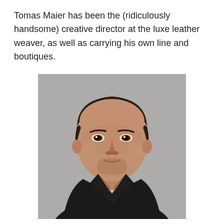Tomas Maier has been the (ridiculously handsome) creative director at the luxe leather weaver, as well as carrying his own line and boutiques.
[Figure (photo): Portrait photograph of Tomas Maier, a middle-aged man with short dark hair, clean-cut features with slight stubble, wearing a black jacket over a white shirt, photographed against a grey background.]